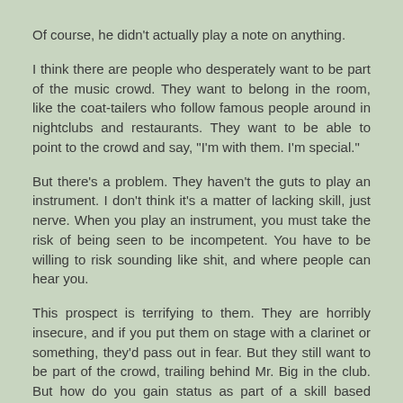Of course, he didn't actually play a note on anything.
I think there are people who desperately want to be part of the music crowd. They want to belong in the room, like the coat-tailers who follow famous people around in nightclubs and restaurants. They want to be able to point to the crowd and say, "I'm with them. I'm special."
But there's a problem. They haven't the guts to play an instrument. I don't think it's a matter of lacking skill, just nerve. When you play an instrument, you must take the risk of being seen to be incompetent. You have to be willing to risk sounding like shit, and where people can hear you.
This prospect is terrifying to them. They are horribly insecure, and if you put them on stage with a clarinet or something, they'd pass out in fear. But they still want to be part of the crowd, trailing behind Mr. Big in the club. But how do you gain status as part of a skill based crowd if you haven't the nerve it takes to develop the skill that will gain you status? Gaining status means RISK.